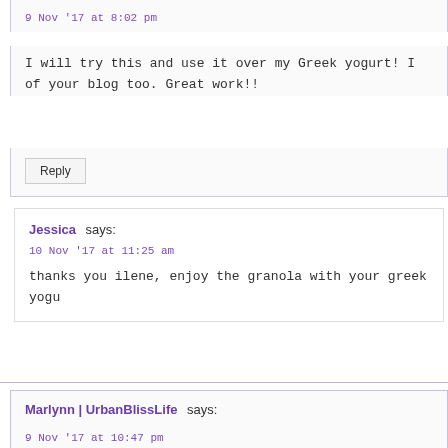9 Nov '17 at 8:02 pm
I will try this and use it over my Greek yogurt! I of your blog too. Great work!!
Reply
Jessica says:
10 Nov '17 at 11:25 am
thanks you ilene, enjoy the granola with your greek yogu
Marlynn | UrbanBlissLife says:
9 Nov '17 at 10:47 pm
This looks so yummy! I love healthy breakfasts tha